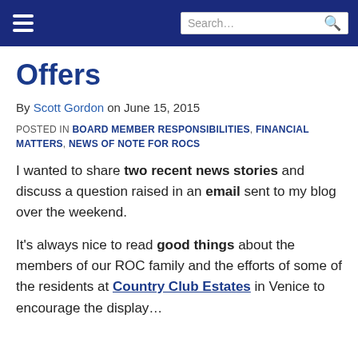Navigation bar with hamburger menu and search box
Offers
By Scott Gordon on June 15, 2015
POSTED IN BOARD MEMBER RESPONSIBILITIES, FINANCIAL MATTERS, NEWS OF NOTE FOR ROCS
I wanted to share two recent news stories and discuss a question raised in an email sent to my blog over the weekend.
It's always nice to read good things about the members of our ROC family and the efforts of some of the residents at Country Club Estates in Venice to encourage the display…